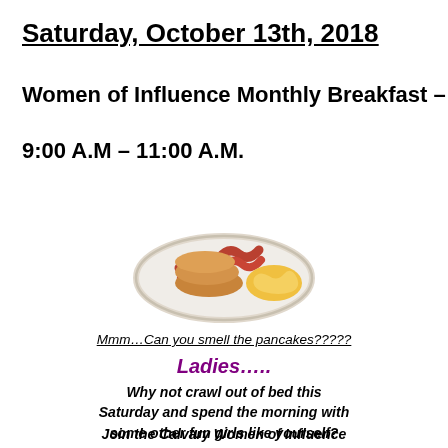Saturday, October 13th, 2018
Women of Influence Monthly Breakfast –
9:00 A.M – 11:00 A.M.
[Figure (photo): A plate with pancakes, bacon, and scrambled eggs]
Mmm…Can you smell the pancakes?????
Ladies…..
Why not crawl out of bed this Saturday and spend the morning with some other fun girls like yourself?
Join the Calvary Women of Influence